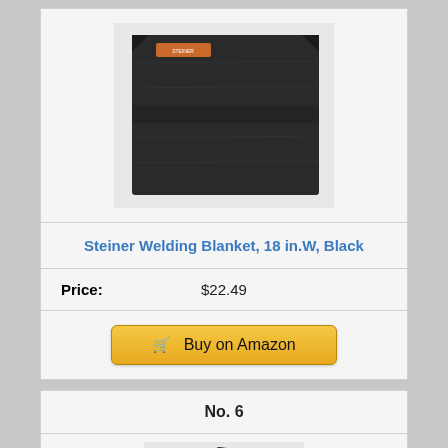[Figure (photo): Photo of a black Steiner welding blanket, folded flat, with an orange label in the upper left corner]
Steiner Welding Blanket, 18 in.W, Black
| Price: | $22.49 |
[Figure (other): Buy on Amazon button with shopping cart icon]
No. 6
[Figure (photo): Partially visible photo of a black welding blanket, cropped at the bottom of the page]